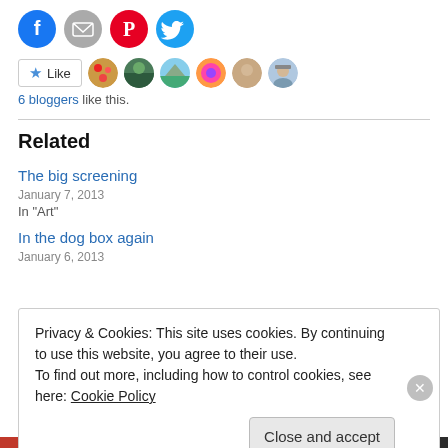[Figure (infographic): Social share buttons: Facebook (blue), Email (gray), Pinterest (red), Twitter (cyan) as circular icons]
[Figure (infographic): Like button with star icon and 6 blogger avatars]
6 bloggers like this.
Related
The big screening
January 7, 2013
In "Art"
In the dog box again
January 6, 2013
Privacy & Cookies: This site uses cookies. By continuing to use this website, you agree to their use.
To find out more, including how to control cookies, see here: Cookie Policy
Close and accept